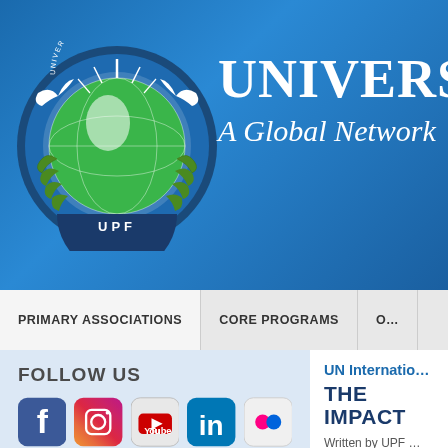[Figure (logo): Universal Peace Federation circular logo with globe, doves, olive branches, and 'UPF' text at bottom]
UNIVERSAL
A Global Network
PRIMARY ASSOCIATIONS | CORE PROGRAMS | O...
FOLLOW US
[Figure (infographic): Social media icons: Facebook, Instagram, YouTube, LinkedIn, Flickr]
UNITED NATIONS RELATIONS
Sustainable Development Goals
Interfaith Council Proposal
UN International...
THE IMPACT
Written by UPF ...
Wednesday, Ma...